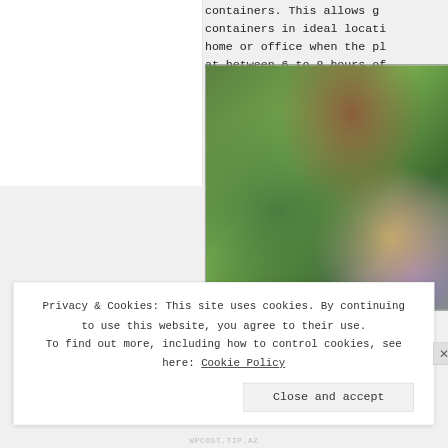containers. This allows g... containers in ideal locati... home or office when the pl... at between 6 to 8 hours of...
[Figure (photo): Close-up photograph of plant leaves and flower petals — green leaves with yellow-brown and purple-pink petals visible, bokeh background with brownish blurred foliage.]
Privacy & Cookies: This site uses cookies. By continuing to use this website, you agree to their use. To find out more, including how to control cookies, see here: Cookie Policy
Close and accept